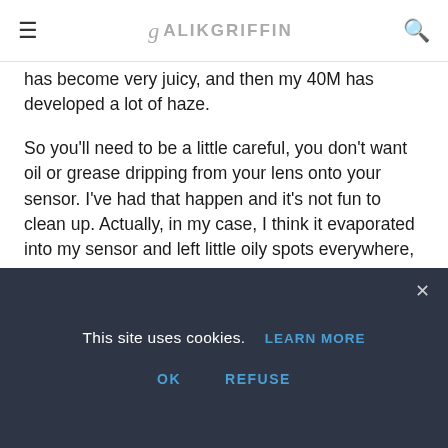ALIKGRIFFIN
has become very juicy, and then my 40M has developed a lot of haze.
So you'll need to be a little careful, you don't want oil or grease dripping from your lens onto your sensor. I've had that happen and it's not fun to clean up. Actually, in my case, I think it evaporated into my sensor and left little oily spots everywhere, took forever to clean.
BTW, another great lens to checkout is the Industar 58mm 50-2. Fantastic Micro-Contrast.
This site uses cookies. LEARN MORE
OK   REFUSE